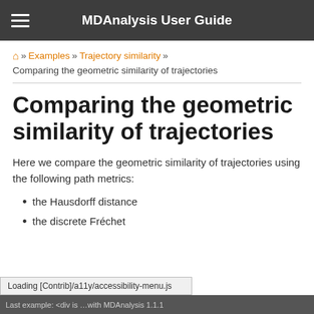MDAnalysis User Guide
🏠 » Examples » Trajectory similarity » Comparing the geometric similarity of trajectories
Comparing the geometric similarity of trajectories
Here we compare the geometric similarity of trajectories using the following path metrics:
the Hausdorff distance
the discrete Fréchet
Loading [Contrib]/a11y/accessibility-menu.js